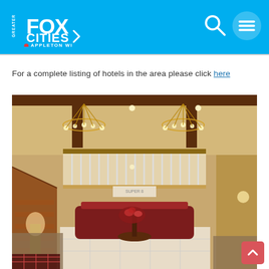Greater Fox Cities — Appleton WI (navigation header with search and menu icons)
For a complete listing of hotels in the area please click here
[Figure (photo): Interior photo of a hotel lobby with high ceilings, two large chandeliers, a curved reception desk, floral centerpiece on a round table, staircase on the left, and a mezzanine level with white railings.]